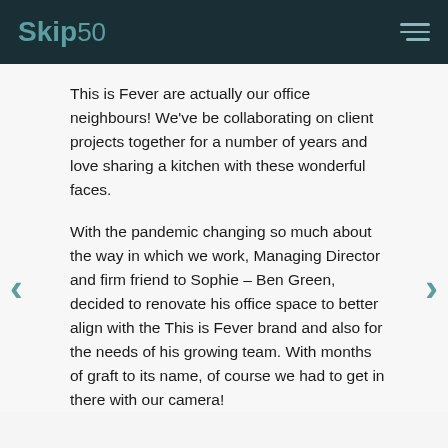Skip50
This is Fever are actually our office neighbours! We've be collaborating on client projects together for a number of years and love sharing a kitchen with these wonderful faces.
With the pandemic changing so much about the way in which we work, Managing Director and firm friend to Sophie – Ben Green, decided to renovate his office space to better align with the This is Fever brand and also for the needs of his growing team. With months of graft to its name, of course we had to get in there with our camera!